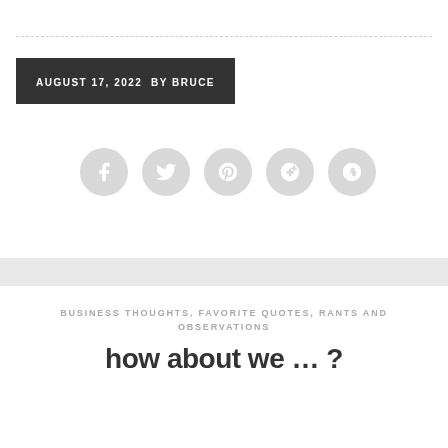AUGUST 17, 2022  BY BRUCE
[Figure (infographic): Five gray circular social media icon buttons: Facebook (f), Twitter (bird), Pinterest (p), Google+ (g+), StumbleUpon (su)]
BUSINESS THOUGHTS, FAVORITE QUOTES, RANTS AND OBSERVATIONS
how about we … ?